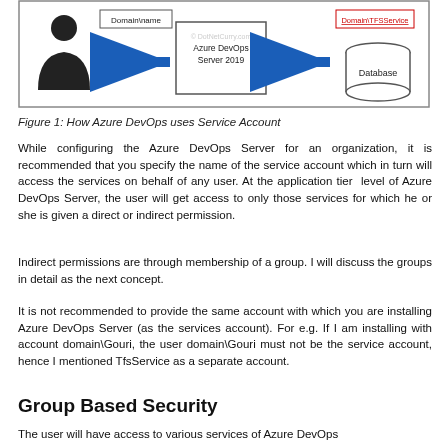[Figure (schematic): Diagram showing how Azure DevOps uses Service Account: a person icon with Domain\name label, an arrow pointing to Azure DevOps Server 2019 box, an arrow pointing to a Database cylinder, with Domain\TFSService label on the second box. Watermark: © DotNetCurry.com]
Figure 1: How Azure DevOps uses Service Account
While configuring the Azure DevOps Server for an organization, it is recommended that you specify the name of the service account which in turn will access the services on behalf of any user. At the application tier  level of Azure DevOps Server, the user will get access to only those services for which he or she is given a direct or indirect permission.
Indirect permissions are through membership of a group. I will discuss the groups in detail as the next concept.
It is not recommended to provide the same account with which you are installing Azure DevOps Server (as the services account). For e.g. If I am installing with account domain\Gouri, the user domain\Gouri must not be the service account, hence I mentioned TfsService as a separate account.
Group Based Security
The user will have access to various services of Azure DevOps